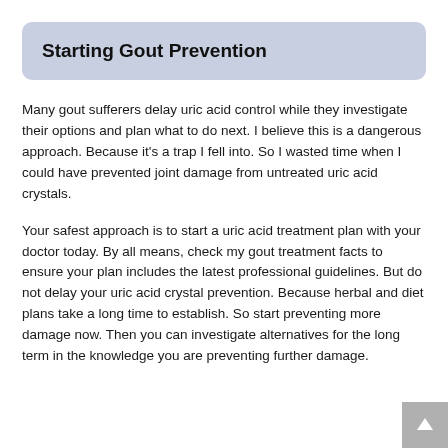Starting Gout Prevention
Many gout sufferers delay uric acid control while they investigate their options and plan what to do next. I believe this is a dangerous approach. Because it's a trap I fell into. So I wasted time when I could have prevented joint damage from untreated uric acid crystals.
Your safest approach is to start a uric acid treatment plan with your doctor today. By all means, check my gout treatment facts to ensure your plan includes the latest professional guidelines. But do not delay your uric acid crystal prevention. Because herbal and diet plans take a long time to establish. So start preventing more damage now. Then you can investigate alternatives for the long term in the knowledge you are preventing further damage.